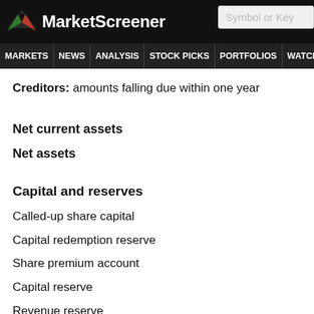MarketScreener | Symbol or Key
MARKETS NEWS ANALYSIS STOCK PICKS PORTFOLIOS WATCHLI
Creditors: amounts falling due within one year
Net current assets
Net assets
Capital and reserves
Called-up share capital
Capital redemption reserve
Share premium account
Capital reserve
Revenue reserve